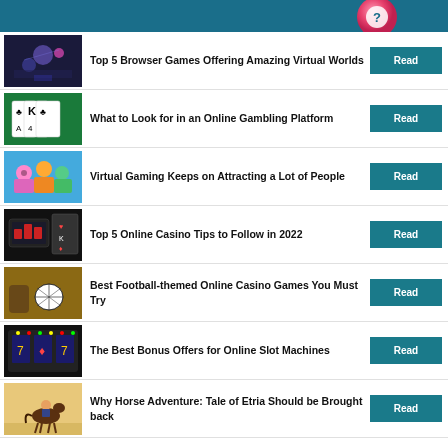Top 5 Browser Games Offering Amazing Virtual Worlds
What to Look for in an Online Gambling Platform
Virtual Gaming Keeps on Attracting a Lot of People
Top 5 Online Casino Tips to Follow in 2022
Best Football-themed Online Casino Games You Must Try
The Best Bonus Offers for Online Slot Machines
Why Horse Adventure: Tale of Etria Should be Brought back